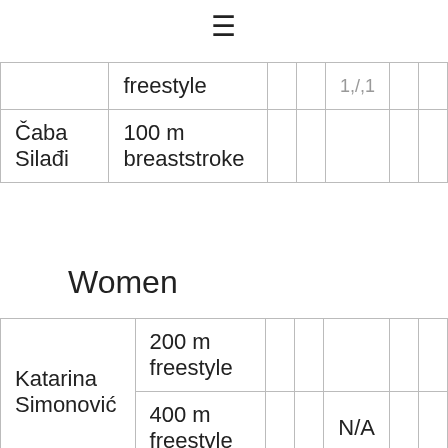≡
| Athlete | Event |  |  | Result |  |  |
| --- | --- | --- | --- | --- | --- | --- |
|  | freestyle |  |  | 1,/,1 |  |  |
| Čaba Silađi | 100 m breaststroke |  |  |  |  |  |
Women
| Athlete | Event |  |  | Result |  |  |
| --- | --- | --- | --- | --- | --- | --- |
| Katarina Simonović | 200 m freestyle |  |  |  |  |  |
| Katarina Simonović | 400 m freestyle |  |  | N/A |  |  |
|  | 200 m |  |  |  |  |  |